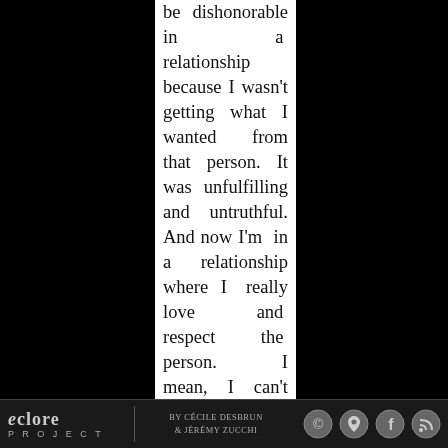be dishonorable in a relationship because I wasn't getting what I wanted from that person. It was unfulfilling and untruthful. And now I'm in a relationship where I really love and respect the person. I mean, I can't say that I have no desire to flirt or have that
eclore PROJECT | BY CÉCILE DESBRUN & JÉRÉMY ZUCCHI